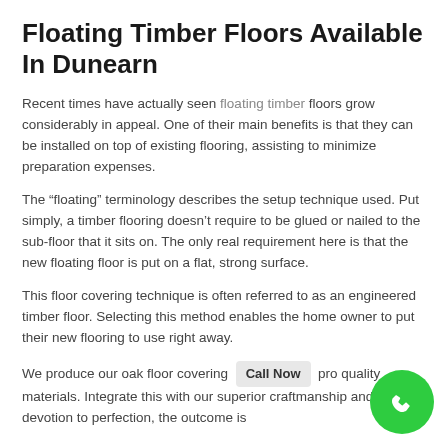Floating Timber Floors Available In Dunearn
Recent times have actually seen floating timber floors grow considerably in appeal. One of their main benefits is that they can be installed on top of existing flooring, assisting to minimize preparation expenses.
The “floating” terminology describes the setup technique used. Put simply, a timber flooring doesn’t require to be glued or nailed to the sub-floor that it sits on. The only real requirement here is that the new floating floor is put on a flat, strong surface.
This floor covering technique is often referred to as an engineered timber floor. Selecting this method enables the home owner to put their new flooring to use right away.
We produce our oak floor covering [Call Now] pro quality materials. Integrate this with our superior craftmanship and devotion to perfection, the outcome is
[Figure (other): Green circular phone/call button icon in bottom right corner]